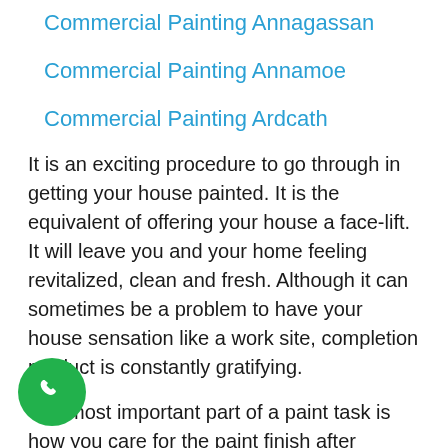Commercial Painting Annagassan
Commercial Painting Annamoe
Commercial Painting Ardcath
It is an exciting procedure to go through in getting your house painted. It is the equivalent of offering your house a face-lift. It will leave you and your home feeling revitalized, clean and fresh. Although it can sometimes be a problem to have your house sensation like a work site, completion product is constantly gratifying.
The most important part of a paint task is how you care for the paint finish after conclusion. The upkeep of the interior of a structure post paint works is necessary to keep your home looking like brand-new for longer.